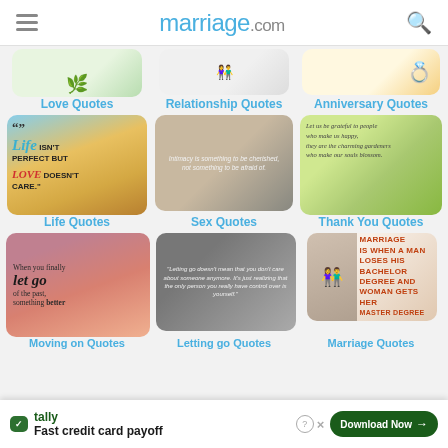marriage.com
[Figure (screenshot): Website category grid showing quote categories: Love Quotes, Relationship Quotes, Anniversary Quotes]
Love Quotes
Relationship Quotes
Anniversary Quotes
[Figure (screenshot): Grid row with Life Quotes, Sex Quotes, Thank You Quotes thumbnail images]
Life Quotes
Sex Quotes
Thank You Quotes
[Figure (screenshot): Grid row with letting go quotes and marriage quote thumbnail images]
Moving on Quotes
Letting go Quotes
Marriage Quotes
[Figure (infographic): Ad banner: Tally app - Fast credit card payoff - Download Now button]